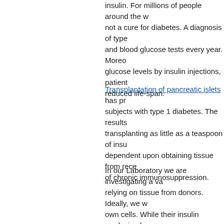insulin. For millions of people around the world, insulin injections are not a cure for diabetes. A diagnosis of type 1 diabetes requires eye and blood glucose tests every year. Moreover, aside from controlling glucose levels by insulin injections, patients are faced with a reduced life-span.
Transplantation of pancreatic islets has proven successful in subjects with type 1 diabetes. The results are impressive – transplanting as little as a teaspoon of issu-tissue. However, this is dependent upon obtaining tissue from recently deceased donors and of chronic immunosuppression.
In our Laboratory we are investigating a variety of strategies relying on tissue from donors. Ideally, we would use the patient's own cells. While their insulin producing beta-cells are destroyed, that we may be able to stimulate sufficient regeneration of new beta-cells from stem cells. Alternatively we might engineer the body to produce insulin or other anti-diabetic compounds for itself. The 'Laboratory of Molecular and Cellular Diabetes' (including undergraduate), technicians and postdoctoral fellows to develop therapeutic approaches for diabetes. Our research uses techniques and studies at the cellular and molecular level. These therapies may be the medicine of the future.